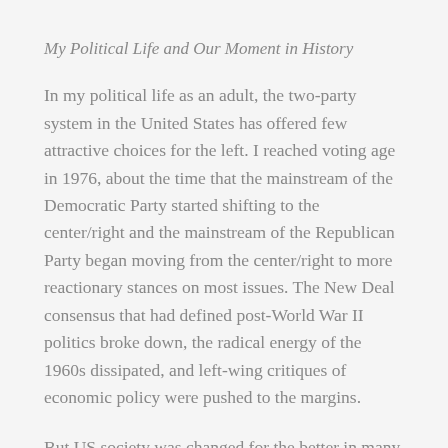My Political Life and Our Moment in History
In my political life as an adult, the two-party system in the United States has offered few attractive choices for the left. I reached voting age in 1976, about the time that the mainstream of the Democratic Party started shifting to the center/right and the mainstream of the Republican Party began moving from the center/right to more reactionary stances on most issues. The New Deal consensus that had defined post-World War II politics broke down, the radical energy of the 1960s dissipated, and left-wing critiques of economic policy were pushed to the margins.
But US society was changed for the better in many ways by that radical activism, most notably on issues of race, sex, and sexuality — civil rights